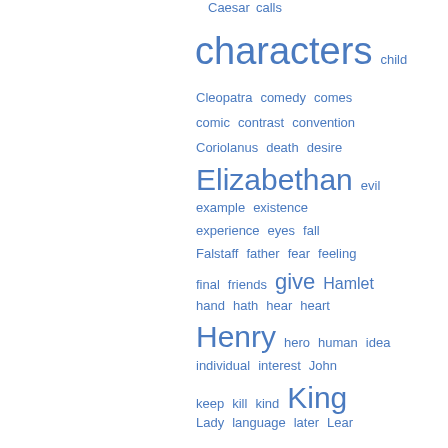[Figure (other): Word cloud of Shakespeare-related terms in varying font sizes, all in blue. Words include: Caesar, calls, characters, child, Cleopatra, comedy, comes, comic, contrast, convention, Coriolanus, death, desire, Elizabethan, evil, example, existence, experience, eyes, fall, Falstaff, father, fear, feeling, final, friends, give, Hamlet, hand, hath, hear, heart, Henry, hero, human, idea, individual, interest, John, keep, kill, kind, King, Lady, language, later, Lear, lecture, lines, live, look, Macbeth, marry, means, nature, never, night]